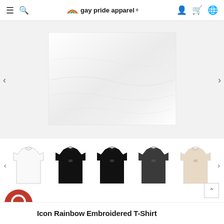Gay Pride Apparel - navigation bar with hamburger menu, search, logo, account, cart, language icons
[Figure (photo): White cloth/fabric laid flat, main product image with left and right navigation arrows]
[Figure (photo): Thumbnail row showing 5 t-shirt color variants: white, black, black, dark grey, cream/beige, with left and right navigation arrows]
[Figure (other): Red circular chat support widget icon]
Icon Rainbow Embroidered T-Shirt